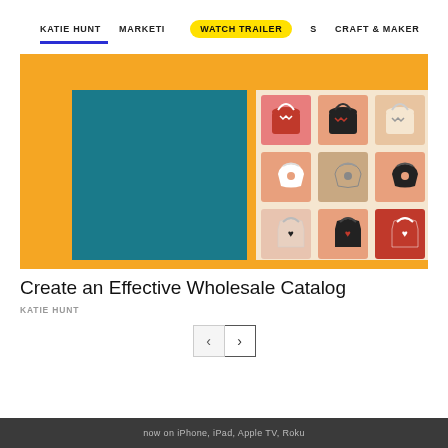KATIE HUNT   MARKETING   WATCH TRAILER   S   CRAFT & MAKER
[Figure (illustration): Hero image for wholesale catalog course: orange background with teal rectangle on left, and grid of illustrated handbag icons in pink/salmon squares on right showing three styles of bags (shoulder bag, bucket bag, tote with heart) in three colorways each.]
Create an Effective Wholesale Catalog
KATIE HUNT
now on iPhone, iPad, Apple TV, Roku